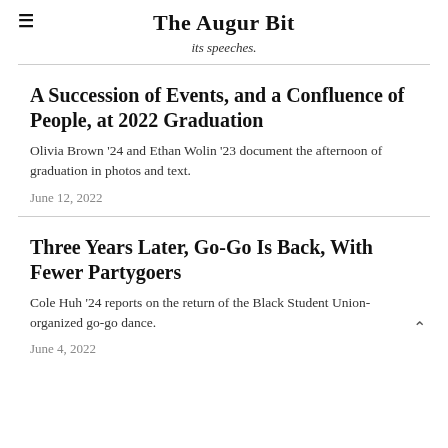The Augur Bit
its speeches.
A Succession of Events, and a Confluence of People, at 2022 Graduation
Olivia Brown '24 and Ethan Wolin '23 document the afternoon of graduation in photos and text.
June 12, 2022
Three Years Later, Go-Go Is Back, With Fewer Partygoers
Cole Huh '24 reports on the return of the Black Student Union-organized go-go dance.
June 4, 2022